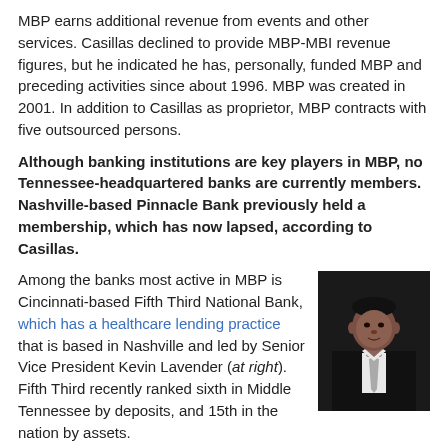MBP earns additional revenue from events and other services. Casillas declined to provide MBP-MBI revenue figures, but he indicated he has, personally, funded MBP and preceding activities since about 1996. MBP was created in 2001. In addition to Casillas as proprietor, MBP contracts with five outsourced persons.
Although banking institutions are key players in MBP, no Tennessee-headquartered banks are currently members. Nashville-based Pinnacle Bank previously held a membership, which has now lapsed, according to Casillas.
Among the banks most active in MBP is Cincinnati-based Fifth Third National Bank, which has a healthcare lending practice that is based in Nashville and led by Senior Vice President Kevin Lavender (at right). Fifth Third recently ranked sixth in Middle Tennessee by deposits, and 15th in the nation by assets.
[Figure (photo): Portrait photo of Kevin Lavender, Senior Vice President, wearing a dark suit and tie]
Lavender told VNC this afternoon that the banking community "and Fifth Third in particular" have a role to play in this arena. He added that while not all the answers the industry seeks are yet apparent, "the Medical Banking Project is at the forefront in talking about the role banks can have..."